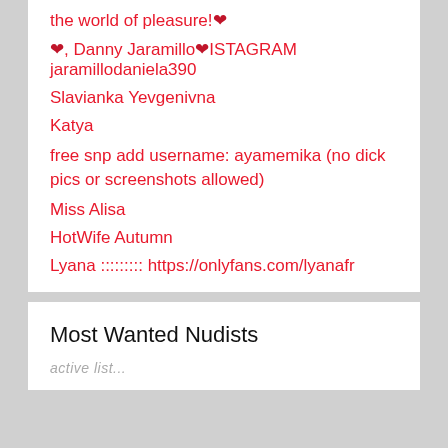the world of pleasure!❤
❤, Danny Jaramillo❤ISTAGRAM jaramillodaniela390
Slavianka Yevgenivna
Katya
free snp add username: ayamemika (no dick pics or screenshots allowed)
Miss Alisa
HotWife Autumn
Lyana ::::::::: https://onlyfans.com/lyanafr
Most Wanted Nudists
active list...